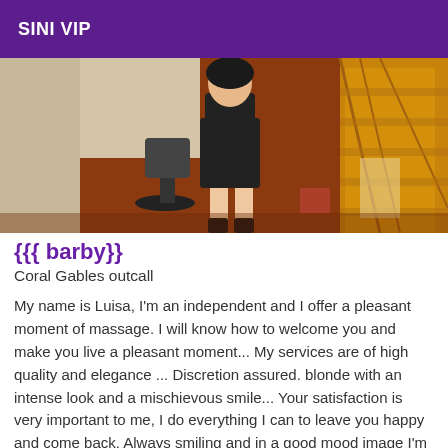SINI VIP
[Figure (photo): Photo of a woman in a black outfit standing in a room with a wooden staircase and office chair]
{{{ barby}}
Coral Gables outcall
My name is Luisa, I'm an independent and I offer a pleasant moment of massage. I will know how to welcome you and make you live a pleasant moment... My services are of high quality and elegance ... Discretion assured. blonde with an intense look and a mischievous smile... Your satisfaction is very important to me, I do everything I can to leave you happy and come back. Always smiling and in a good mood image I'm waiting for you with a very nice lingerie or otherwise